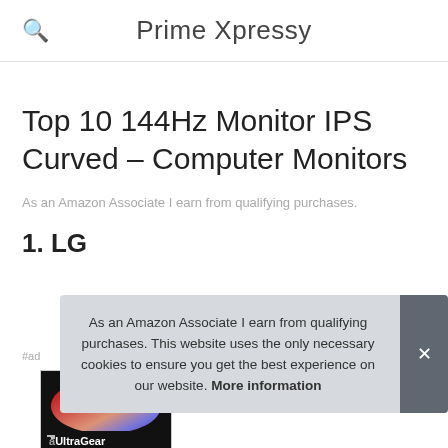Prime Xpressy
Top 10 144Hz Monitor IPS Curved – Computer Monitors
As an Amazon Associate I earn from qualifying purchases.
1. LG
#ad
[Figure (photo): LG UltraGear monitor product image]
As an Amazon Associate I earn from qualifying purchases. This website uses the only necessary cookies to ensure you get the best experience on our website. More information